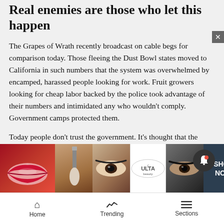Real enemies are those who let this happen
The Grapes of Wrath recently broadcast on cable begs for comparison today. Those fleeing the Dust Bowl states moved to California in such numbers that the system was overwhelmed by encamped, harassed people looking for work. Fruit growers looking for cheap labor backed by the police took advantage of their numbers and intimidated any who wouldn’t comply. Government camps protected them.
Today people don’t trust the government. It’s thought that the government is like the fruit growers in California and all police are the enemy.
Rioters ... then c... Th...
[Figure (screenshot): ULTA Beauty advertisement banner with makeup images (lips, makeup brush, eye closeups) and SHOP NOW button]
Home  Trending  Sections